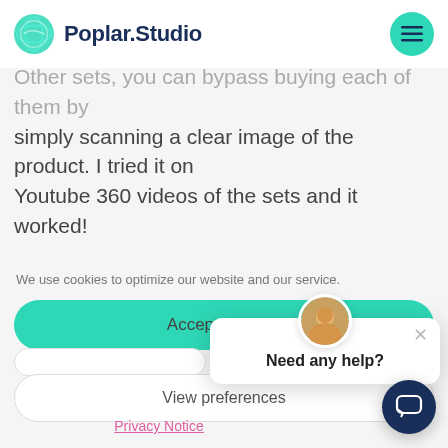[Figure (logo): Poplar.Studio logo with teal globe icon and dark blue text]
Other sets, you can bypass buying each of them by simply scanning a clear image of the product. I tried it on Youtube 360 videos of the sets and it worked!
We use cookies to optimize our website and our service.
Accept cookies
View preferences
Privacy Notice
[Figure (screenshot): Help chat popup with avatar image and 'Need any help?' text, with close X button]
[Figure (screenshot): Dark navy chat button in bottom right corner]